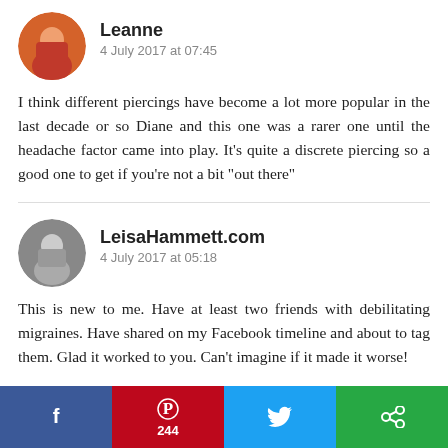Leanne
4 July 2017 at 07:45
I think different piercings have become a lot more popular in the last decade or so Diane and this one was a rarer one until the headache factor came into play. It's quite a discrete piercing so a good one to get if you're not a bit "out there"
LeisaHammett.com
4 July 2017 at 05:18
This is new to me. Have at least two friends with debilitating migraines. Have shared on my Facebook timeline and about to tag them. Glad it worked to you. Can't imagine if it made it worse!
[Figure (infographic): Social sharing bar with Facebook (blue), Pinterest (red, count 244), Twitter (light blue), and a green share button]
244